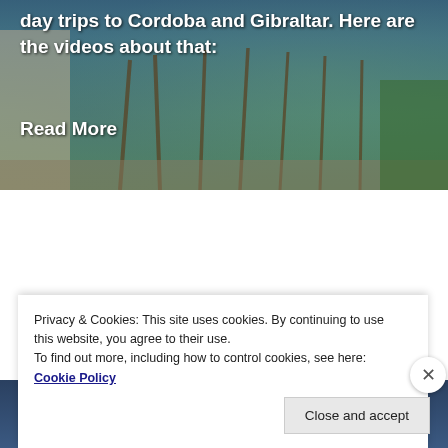[Figure (photo): Background photo of a palm-tree lined pathway/walkway with buildings, sky and greenery visible]
day trips to Cordoba and Gibraltar. Here are the videos about that:
Read More
[Figure (photo): Background photo of a cloudy blue sky]
TOP 10 PLACES IN EUROPE
Privacy & Cookies: This site uses cookies. By continuing to use this website, you agree to their use.
To find out more, including how to control cookies, see here: Cookie Policy
Close and accept